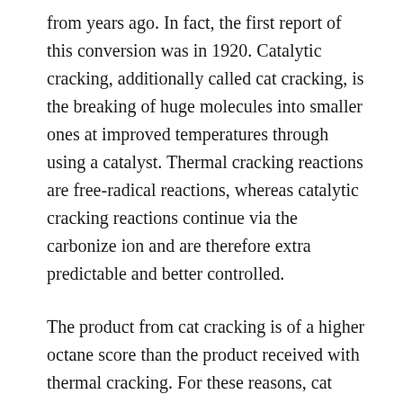from years ago. In fact, the first report of this conversion was in 1920. Catalytic cracking, additionally called cat cracking, is the breaking of huge molecules into smaller ones at improved temperatures through using a catalyst. Thermal cracking reactions are free-radical reactions, whereas catalytic cracking reactions continue via the carbonize ion and are therefore extra predictable and better controlled.
The product from cat cracking is of a higher octane score than the product received with thermal cracking. For these reasons, cat cracking is the desired method and has almost entirely replaced thermal cracking.
Catalyst explained